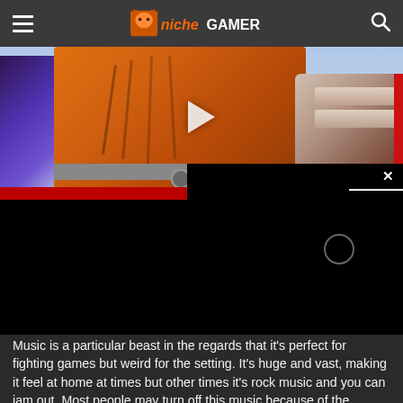Niche Gamer
[Figure (screenshot): Anime fighting game screenshot showing an orange-suited character with a fist raised, with a dark video player overlay in the bottom right corner featuring an X close button and a loading circle]
Music is a particular beast in the regards that it's perfect for fighting games but weird for the setting. It's huge and vast, making it feel at home at times but other times it's rock music and you can jam out. Most people may turn off this music because of the abstract nature but I'll most likely keep it on.